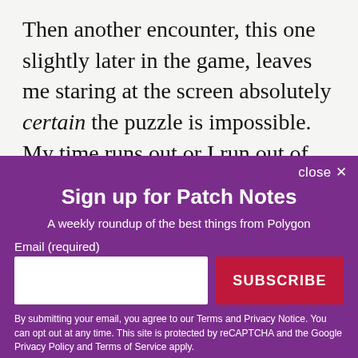Then another encounter, this one slightly later in the game, leaves me staring at the screen absolutely certain the puzzle is impossible. My time runs out or I run out of moves on the rings, and I'm left with an imperfect solution and an overwhelming sense of defeat because this seemingly simple kids' game just
[Figure (screenshot): Newsletter sign-up modal overlay with purple background. Contains title 'Sign up for Patch Notes', subtitle 'A weekly roundup of the best things from Polygon', email input field, SUBSCRIBE button, and disclaimer text. Also shows a close button in the top right.]